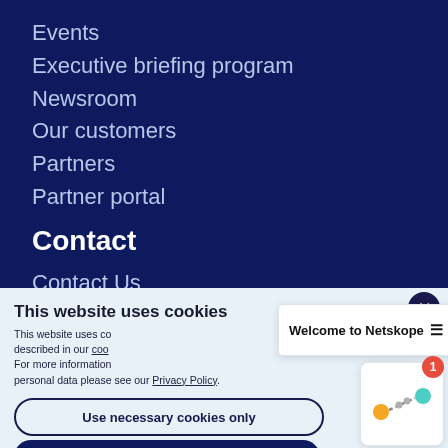Events
Executive briefing program
Newsroom
Our customers
Partners
Partner portal
Contact
Contact Us
This website uses cookies
This website uses cookies described in our coo... For more information personal data please see our Privacy Policy.
Welcome to Netskope ≡
Use necessary cookies only
Allow all cookies
Show details ∨